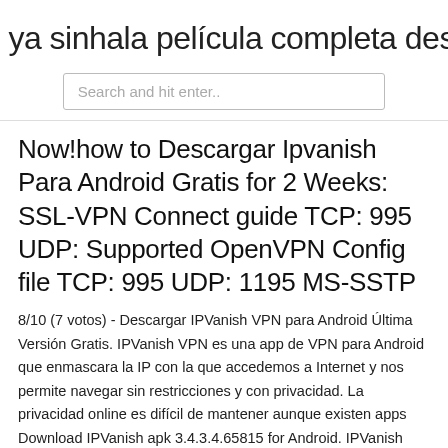ya sinhala película completa descarg
Search and hit enter..
Now!how to Descargar Ipvanish Para Android Gratis for 2 Weeks: SSL-VPN Connect guide TCP: 995 UDP: Supported OpenVPN Config file TCP: 995 UDP: 1195 MS-SSTP
8/10 (7 votos) - Descargar IPVanish VPN para Android Última Versión Gratis. IPVanish VPN es una app de VPN para Android que enmascara la IP con la que accedemos a Internet y nos permite navegar sin restricciones y con privacidad. La privacidad online es difícil de mantener aunque existen apps Download IPVanish apk 3.4.3.4.65815 for Android. IPVanish VPN: Cifrar la conexión a Internet con la red VPN más rápido del mundo IP Vanish para Android, descargar gratis. IP Vanish última versión: Programa para navegar en redes VPN. Seguro que, si te pasas el día navegando por Internet y no dudas en